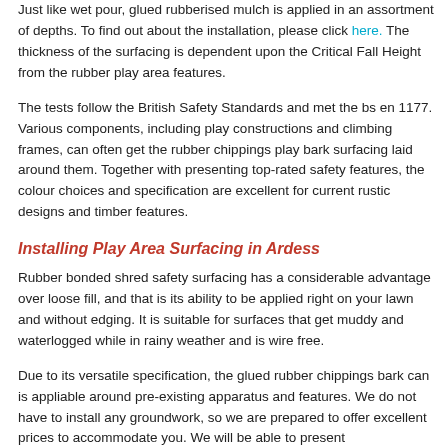Just like wet pour, glued rubberised mulch is applied in an assortment of depths. To find out about the installation, please click here. The thickness of the surfacing is dependent upon the Critical Fall Height from the rubber play area features.
The tests follow the British Safety Standards and met the bs en 1177. Various components, including play constructions and climbing frames, can often get the rubber chippings play bark surfacing laid around them. Together with presenting top-rated safety features, the colour choices and specification are excellent for current rustic designs and timber features.
Installing Play Area Surfacing in Ardess
Rubber bonded shred safety surfacing has a considerable advantage over loose fill, and that is its ability to be applied right on your lawn and without edging. It is suitable for surfaces that get muddy and waterlogged while in rainy weather and is wire free.
Due to its versatile specification, the glued rubber chippings bark can is appliable around pre-existing apparatus and features. We do not have to install any groundwork, so we are prepared to offer excellent prices to accommodate you. We will be able to present